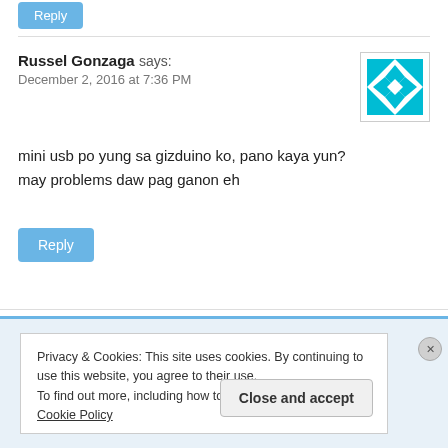[Figure (other): Partially visible blue Reply button at top of page]
Russel Gonzaga says:
December 2, 2016 at 7:36 PM
[Figure (illustration): Avatar image: teal/cyan geometric star pattern on white background with border]
mini usb po yung sa gizduino ko, pano kaya yun?
may problems daw pag ganon eh
[Figure (other): Blue Reply button]
Privacy & Cookies: This site uses cookies. By continuing to use this website, you agree to their use.
To find out more, including how to control cookies, see here: Cookie Policy
Close and accept